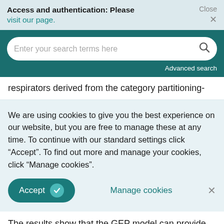Access and authentication: Please visit our page. Close ×
[Figure (screenshot): Search bar with placeholder text 'Enter your search terms here' and a magnifying glass icon, on a dark teal background, with 'Advanced search' link below]
respirators derived from the category partitioning-
We are using cookies to give you the best experience on our website, but you are free to manage these at any time. To continue with our standard settings click "Accept". To find out more and manage your cookies, click "Manage cookies".
Accept ✓   Manage cookies   ×
The results show that the GEP model can provide